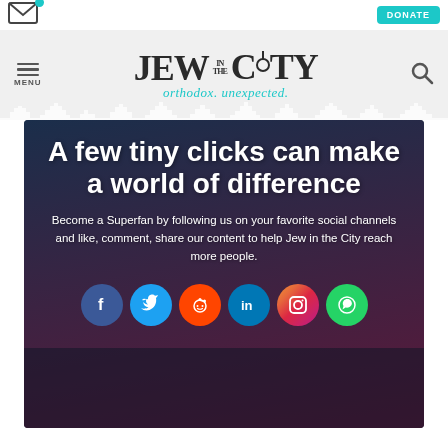[Figure (screenshot): Jew in the City website screenshot showing navigation bar with menu, logo, donate button, email icon, and main promotional banner with social media icons]
A few tiny clicks can make a world of difference
Become a Superfan by following us on your favorite social channels and like, comment, share our content to help Jew in the City reach more people.